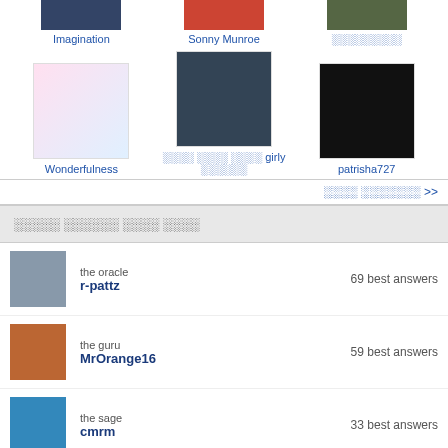[Figure (photo): Three thumbnail images at top: Imagination, Sonny Munroe, and a third with non-Latin text]
Imagination
Sonny Munroe
░░░░░░░░░
[Figure (photo): Three gallery thumbnails: Wonderfulness (colorful drawing), a girly image with non-Latin text, patrisha727]
Wonderfulness
░░░░ ░░░░ ░░░░ girly ░░░░░░
patrisha727
░░░░ ░░░░░░░ >>
░░░░░ ░░░░░░ ░░░░ ░░░░
the oracle | r-pattz | 69 best answers
the guru | MrOrange16 | 59 best answers
the sage | cmrm | 33 best answers
the rather wise | 8theGreat | 30 best answers